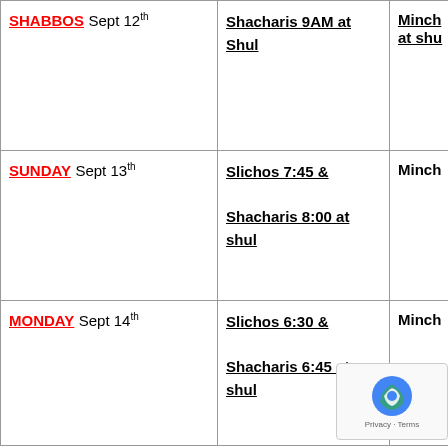| Day | Service | Additional |
| --- | --- | --- |
| SHABBOS Sept 12th | Shacharis 9AM at Shul | Minch at shu |
| SUNDAY Sept 13th | Slichos 7:45 & Shacharis 8:00 at shul | Minch |
| MONDAY Sept 14th | Slichos 6:30 & Shacharis 6:45 at shul | Minch |